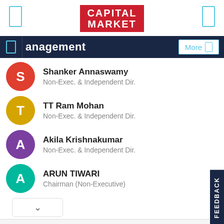Capital Market
Management
Shanker Annaswamy — Non-Exec. & Independent Dir.
TT Ram Mohan — Non-Exec. & Independent Dir.
Akila Krishnakumar — Non-Exec. & Independent Dir.
ARUN TIWARI — Chairman (Non-Executive)
[Figure (other): Advertisement for Enzymedica Unique Trilogy Blend supplement with Shop Now button]